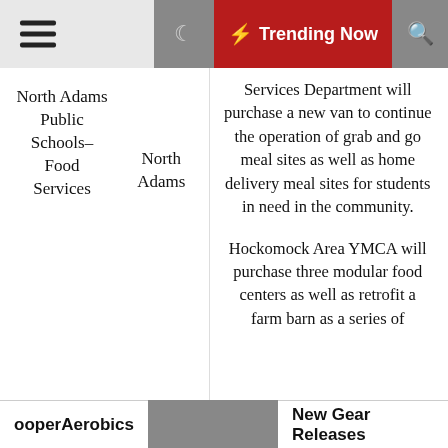≡  🌙  ⚡ Trending Now  🔍
North Adams Public Schools–Food Services
North Adams
Services Department will purchase a new van to continue the operation of grab and go meal sites as well as home delivery meal sites for students in need in the community.
Hockomock Area YMCA will purchase three modular food centers as well as retrofit a farm barn as a series of
ooperAerobics    New Gear Releases